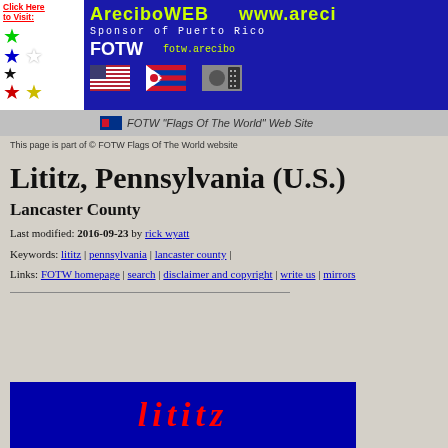[Figure (screenshot): AreciboWEB banner with stars logo and flags. Blue background with yellow/green title text, sponsor text, and three flags (US, Puerto Rico, and other).]
FOTW "Flags Of The World" Web Site
This page is part of © FOTW Flags Of The World website
Lititz, Pennsylvania (U.S.)
Lancaster County
Last modified: 2016-09-23 by rick wyatt
Keywords: lititz | pennsylvania | lancaster county |
Links: FOTW homepage | search | disclaimer and copyright | write us | mirrors
[Figure (illustration): Blue rectangle with red italic text showing partial word (Lititz logo/graphic)]